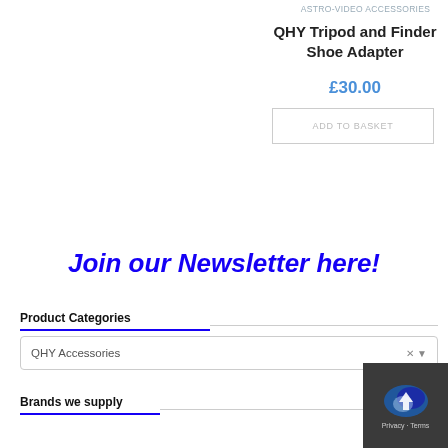ASTRO-VIDEO ACCESSORIES
QHY Tripod and Finder Shoe Adapter
£30.00
ADD TO BASKET
Join our Newsletter here!
Product Categories
QHY Accessories
Brands we supply